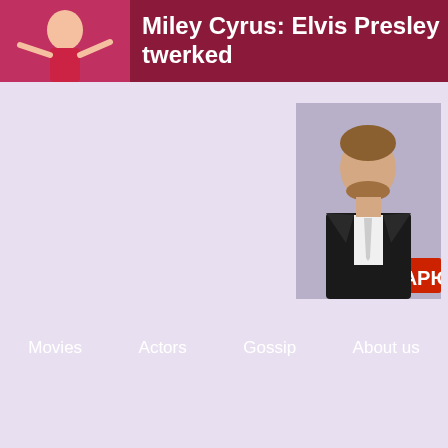Miley Cyrus: Elvis Presley twerked
[Figure (photo): Photo of Jason Bateman at an event, wearing a black suit and tie, with a red event backdrop]
Movies   Actors   Gossip   About us
Jason Bateman